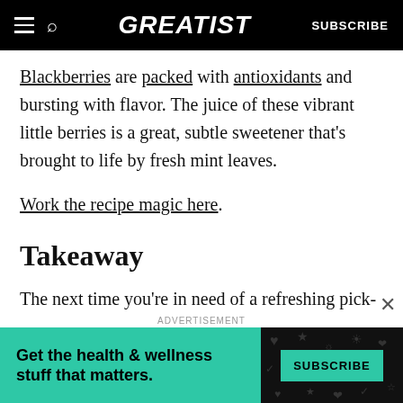GREATIST | SUBSCRIBE
Blackberries are packed with antioxidants and bursting with flavor. The juice of these vibrant little berries is a great, subtle sweetener that’s brought to life by fresh mint leaves.
Work the recipe magic here.
Takeaway
The next time you’re in need of a refreshing pick-me-up around midday or while you’re lounging on your patio, consider combining cold water and the
[Figure (other): Advertisement banner: Get the health & wellness stuff that matters. SUBSCRIBE button on teal background with dark doodle pattern.]